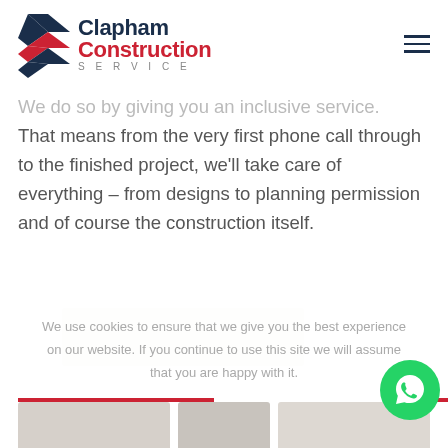Clapham Construction Service
We do so by giving you an inclusive service. That means from the very first phone call through to the finished project, we'll take care of everything – from designs to planning permission and of course the construction itself.
[Figure (photo): Partial view of a construction or building project image strip]
We use cookies to ensure that we give you the best experience on our website. If you continue to use this site we will assume that you are happy with it.
Need Help? Chat with us